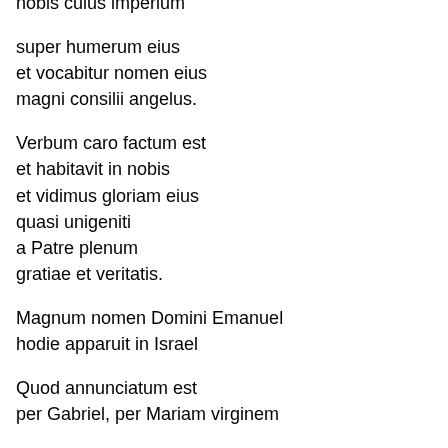nobis cuius imperium
super humerum eius
et vocabitur nomen eius
magni consilii angelus.
Verbum caro factum est
et habitavit in nobis
et vidimus gloriam eius
quasi unigeniti
a Patre plenum
gratiae et veritatis.
Magnum nomen Domini Emanuel
hodie apparuit in Israel
Quod annunciatum est
per Gabriel, per Mariam virginem